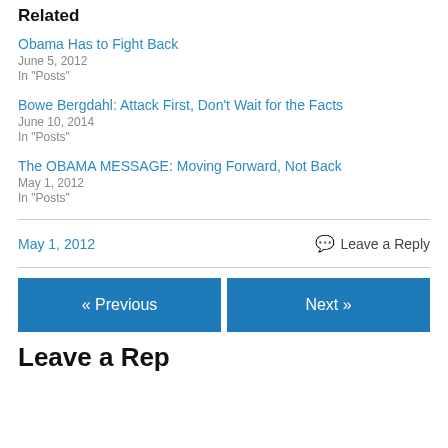Related
Obama Has to Fight Back
June 5, 2012
In "Posts"
Bowe Bergdahl: Attack First, Don't Wait for the Facts
June 10, 2014
In "Posts"
The OBAMA MESSAGE: Moving Forward, Not Back
May 1, 2012
In "Posts"
May 1, 2012    💬 Leave a Reply
« Previous    Next »
Leave a Reply